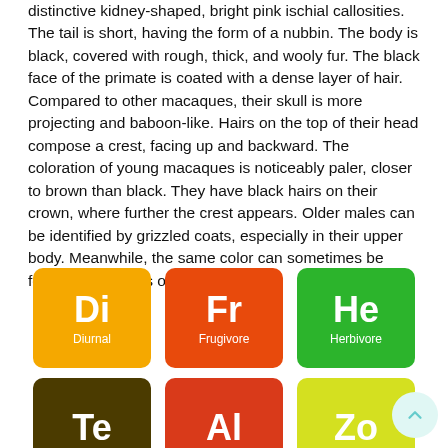distinctive kidney-shaped, bright pink ischial callosities. The tail is short, having the form of a nubbin. The body is black, covered with rough, thick, and wooly fur. The black face of the primate is coated with a dense layer of hair. Compared to other macaques, their skull is more projecting and baboon-like. Hairs on the top of their head compose a crest, facing up and backward. The coloration of young macaques is noticeably paler, closer to brown than black. They have black hairs on their crown, where further the crest appears. Older males can be identified by grizzled coats, especially in their upper body. Meanwhile, the same color can sometimes be found on the arms of younger males.
[Figure (infographic): Three colored cards in periodic-table style showing: Di (Diurnal, yellow/amber), Fr (Frugivore, orange-red), He (Herbivore, green)]
[Figure (infographic): Three partially visible colored cards: Te (dark brown/olive), Al (red-orange), Zo (yellow-green)]